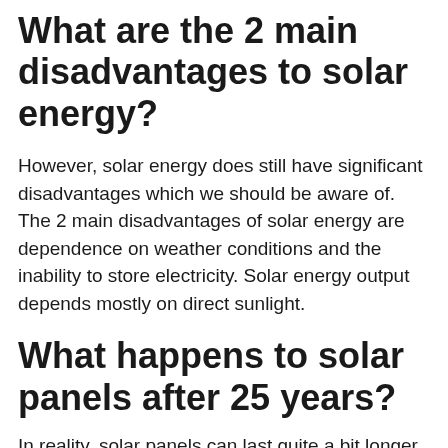What are the 2 main disadvantages to solar energy?
However, solar energy does still have significant disadvantages which we should be aware of. The 2 main disadvantages of solar energy are dependence on weather conditions and the inability to store electricity. Solar energy output depends mostly on direct sunlight.
What happens to solar panels after 25 years?
In reality, solar panels can last quite a bit longer than that: the warranty typically guarantees panels will work above 80% of